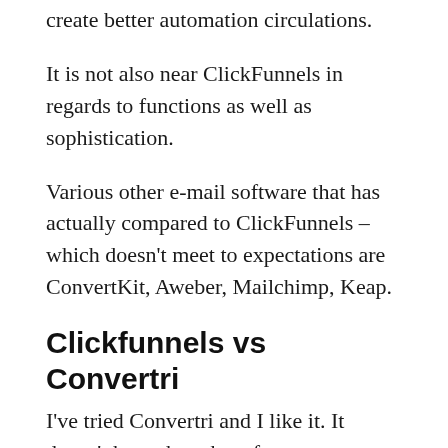create better automation circulations.
It is not also near ClickFunnels in regards to functions as well as sophistication.
Various other e-mail software that has actually compared to ClickFunnels – which doesn't meet to expectations are ConvertKit, Aweber, Mailchimp, Keap.
Clickfunnels vs Convertri
I've tried Convertri and I like it. It doesn't have the robust feature established that ClickFunnels does, yet it is much cheaper.
Convertri is an excellent choice if you're searching